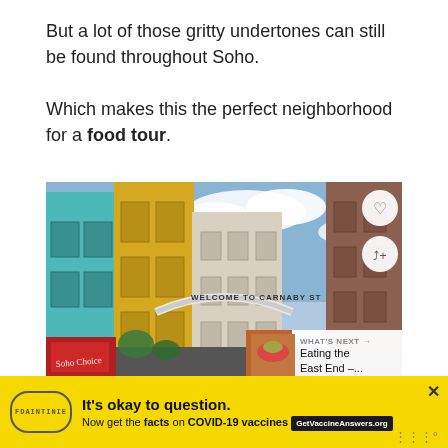But a lot of those gritty undertones can still be found throughout Soho.

Which makes this the perfect neighborhood for a food tour.
[Figure (photo): Street-level photograph looking up at colorful buildings on Carnaby Street in Soho, London. A curved arch sign reads 'WELCOME TO CARNABY ST'. Buildings are painted teal, yellow, red-brick. Overlay buttons: heart icon and share icon on right. 'WHAT'S NEXT → Eating the East End –...' panel at bottom right with food thumbnail.]
It's okay to question. Now get the facts on COVID-19 vaccines GetVaccineAnswers.org